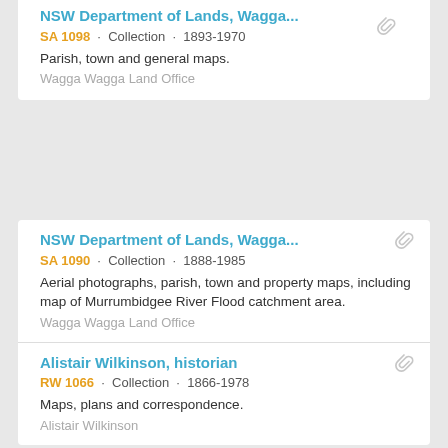NSW Department of Lands, Wagga...
SA 1098 · Collection · 1893-1970
Parish, town and general maps.
Wagga Wagga Land Office
NSW Department of Lands, Wagga...
SA 1090 · Collection · 1888-1985
Aerial photographs, parish, town and property maps, including map of Murrumbidgee River Flood catchment area.
Wagga Wagga Land Office
Alistair Wilkinson, historian
RW 1066 · Collection · 1866-1978
Maps, plans and correspondence.
Alistair Wilkinson